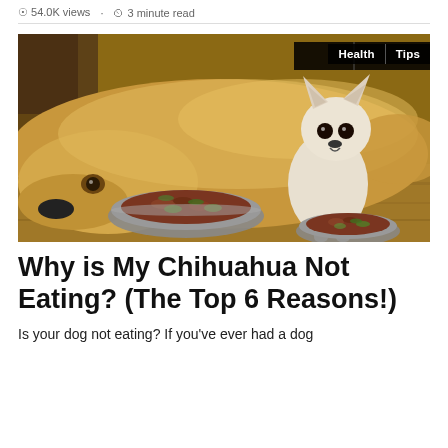54.0K views · 3 minute read
[Figure (photo): A large golden retriever lying on a wooden floor with its head resting near a full bowl of dog food (kibble with green bits), next to a tiny white Chihuahua sitting upright beside a smaller bowl of the same food. Tags 'Health' and 'Tips' appear in the top-right corner of the image.]
Why is My Chihuahua Not Eating? (The Top 6 Reasons!)
Is your dog not eating? If you've ever had a dog